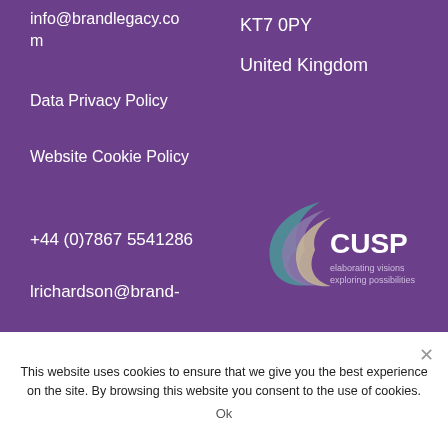info@brandlegacy.com
KT7 0PY
United Kingdom
Data Privacy Policy
Website Cookie Policy
+44 (0)7867 5541286
[Figure (logo): CUSP logo with crescent swoosh graphic, text reads 'CUSP elaborating visions exploring possibilities']
lrichardson@brand-
This website uses cookies to ensure that we give you the best experience on the site. By browsing this website you consent to the use of cookies.
Ok